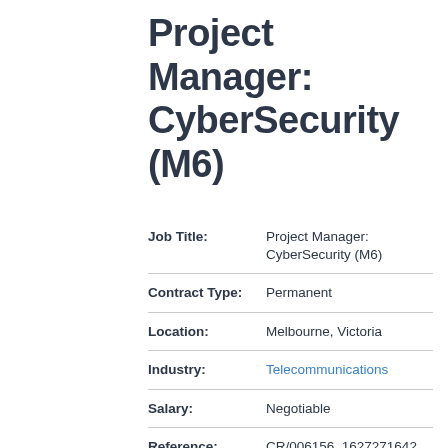Project Manager: CyberSecurity (M6)
| Field | Value |
| --- | --- |
| Job Title: | Project Manager: CyberSecurity (M6) |
| Contract Type: | Permanent |
| Location: | Melbourne, Victoria |
| Industry: | Telecommunications |
| Salary: | Negotiable |
| Reference: | CR/006156_1627271642 |
| Contact Name: | Paul Cutri |